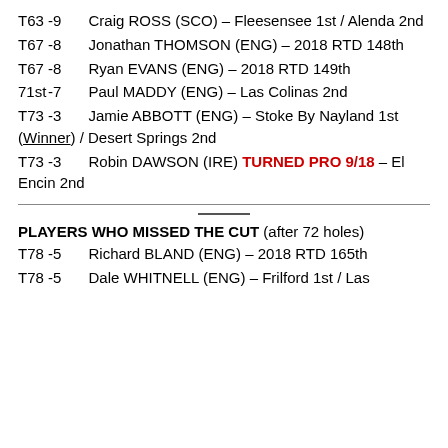T63  -9   Craig ROSS (SCO) – Fleesensee 1st / Alenda 2nd
T67  -8   Jonathan THOMSON (ENG) – 2018 RTD 148th
T67  -8   Ryan EVANS (ENG) – 2018 RTD 149th
71st  -7   Paul MADDY (ENG) – Las Colinas 2nd
T73  -3   Jamie ABBOTT (ENG) – Stoke By Nayland 1st (Winner) / Desert Springs 2nd
T73  -3   Robin DAWSON (IRE) TURNED PRO 9/18 – El Encin 2nd
PLAYERS WHO MISSED THE CUT (after 72 holes)
T78  -5   Richard BLAND (ENG) – 2018 RTD 165th
T78  -5   Dale WHITNELL (ENG) – Frilford 1st / Las